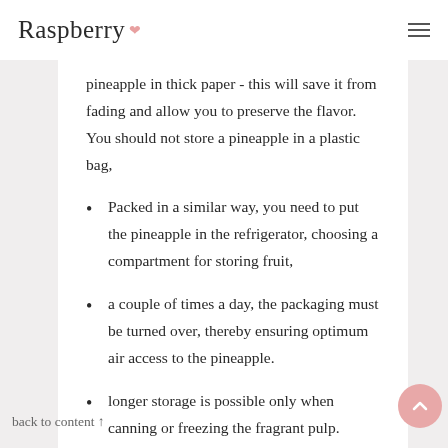Raspberry
pineapple in thick paper - this will save it from fading and allow you to preserve the flavor. You should not store a pineapple in a plastic bag,
Packed in a similar way, you need to put the pineapple in the refrigerator, choosing a compartment for storing fruit,
a couple of times a day, the packaging must be turned over, thereby ensuring optimum air access to the pineapple.
longer storage is possible only when canning or freezing the fragrant pulp.
back to content ↑